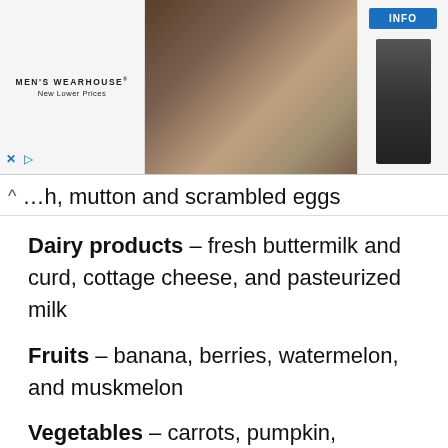[Figure (other): Men's Wearhouse advertisement banner showing a couple in formal wear, a man in a suit, and an INFO button]
…h, mutton and scrambled eggs
Dairy products – fresh buttermilk and curd, cottage cheese, and pasteurized milk
Fruits – banana, berries, watermelon, and muskmelon
Vegetables – carrots, pumpkin, mashed